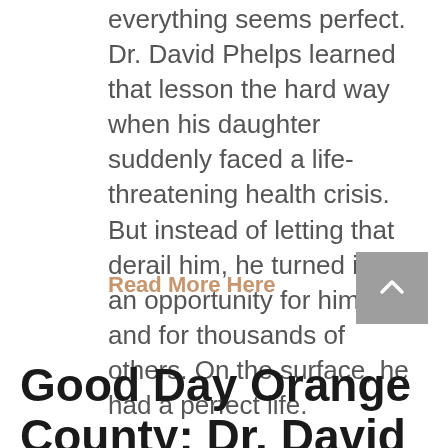everything seems perfect. Dr. David Phelps learned that lesson the hard way when his daughter suddenly faced a life-threatening health crisis. But instead of letting that derail him, he turned it into an opportunity for himself and for thousands of others. On the surface, he had a perfect life.
Read More Here
Good Day Orange County: Dr. David